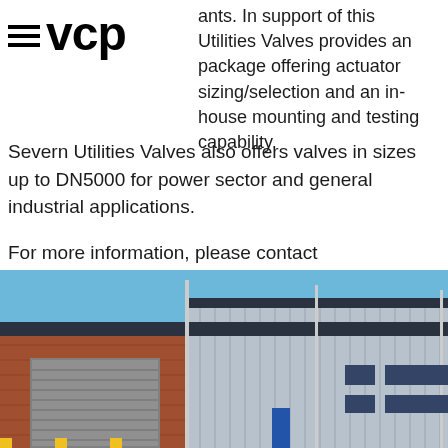[Figure (logo): VCP logo with hamburger menu icon and 'vcp' text in bold]
to a range of these valves, and actuants. In support of this Utilities Valves provides an complete package offering actuator sizing/selection and an in-house mounting and testing capability.
Severn Utilities Valves also offers valves in sizes up to DN5000 for power sector and general industrial applications.
For more information, please contact sales@severnuv.com.
[Figure (photo): Exterior photo of the Severn Utilities Valves building/warehouse with brick and metal cladding facade, blue sky, and company signage]